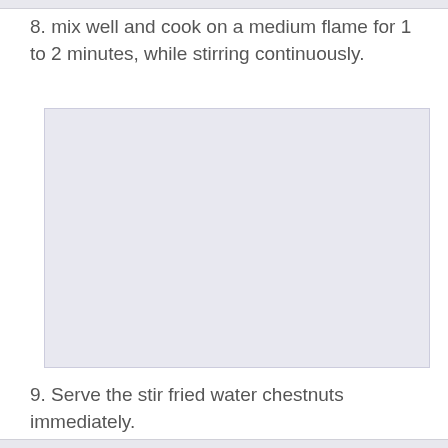8. mix well and cook on a medium flame for 1 to 2 minutes, while stirring continuously.
[Figure (photo): A blank/placeholder image with light blue-gray background, likely a photo of the cooking step.]
9. Serve the stir fried water chestnuts immediately.